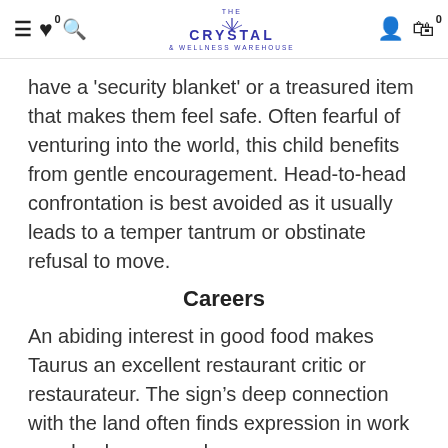The Crystal & Wellness Warehouse — navigation header with hamburger menu, heart icon (0), search icon, logo, user icon, cart icon (0)
have a 'security blanket' or a treasured item that makes them feel safe. Often fearful of venturing into the world, this child benefits from gentle encouragement. Head-to-head confrontation is best avoided as it usually leads to a temper tantrum or obstinate refusal to move.
Careers
An abiding interest in good food makes Taurus an excellent restaurant critic or restaurateur. The sign's deep connection with the land often finds expression in work as a landscape gardener, horticulturist, organic farmer, surveyor, builder, architect, or estate agent. Taurus is also suited to work as a singer or…